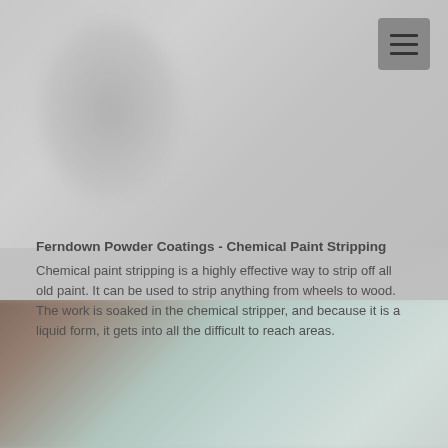[Figure (photo): Blurred background photo at the top of the page, showing indistinct shapes in grey tones. A hamburger menu button (three horizontal lines) is visible in the top-right corner.]
Ferndown Powder Coatings - Chemical Paint Stripping
Chemical paint stripping is a highly effective way to strip off all old paint. It can be used to strip anything from wheels to wood. The work is soaked in the chemical stripper, and because it is a liquid form, it gets into all the difficult to reach areas.
[Figure (photo): Blurred photo at the bottom of the page showing what appears to be a dark object on the left and a light-colored coated item on the right, likely demonstrating before/after chemical paint stripping.]